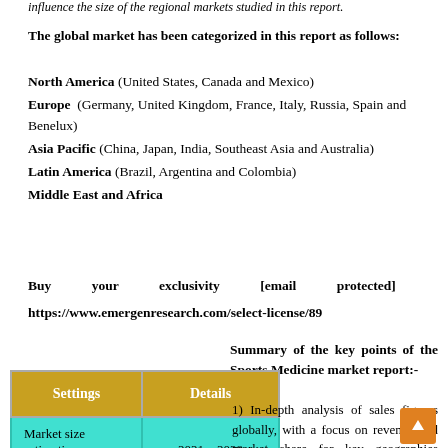influence the size of the regional markets studied in this report.
The global market has been categorized in this report as follows:
North America (United States, Canada and Mexico)
Europe  (Germany, United Kingdom, France, Italy, Russia, Spain and Benelux)
Asia Pacific (China, Japan, India, Southeast Asia and Australia)
Latin America (Brazil, Argentina and Colombia)
Middle East and Africa
Buy your exclusivity [email protected] https://www.emergenresearch.com/select-license/89
Summary of the key points of the Sports Medicine market report:-
| Settings | Details |
| --- | --- |
| Market size estimation period | 2021 – 2028 |
1) In-depth analysis of sales figures globally, with a focus on revenue and market share for key geographies globally. 2) The Sports Medicine competitive